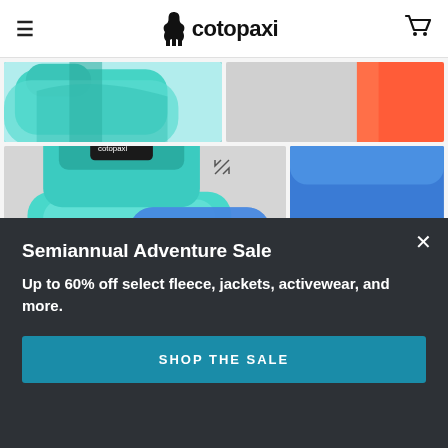≡  cotopaxi  🛒
[Figure (photo): Product photos of Cotopaxi colorful packing cubes and bags stacked, teal/blue/green/orange colors, on white/light background. Two rows of product images.]
Semiannual Adventure Sale
Up to 60% off select fleece, jackets, activewear, and more.
SHOP THE SALE